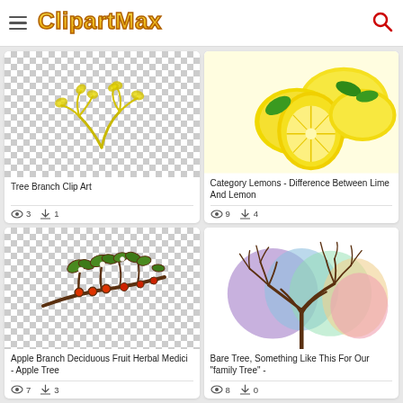ClipArtMax
[Figure (illustration): Tree branch clip art - yellow/gold illustrated branch with leaves on transparent checkered background]
Tree Branch Clip Art
3 views, 1 download
[Figure (photo): Category Lemons - photo of lemons, one cut in half showing cross-section, with green leaves]
Category Lemons - Difference Between Lime And Lemon
9 views, 4 downloads
[Figure (illustration): Apple branch with deciduous fruit - illustration of flowering apple tree branch with red berries/fruit and green leaves]
Apple Branch Deciduous Fruit Herbal Medici - Apple Tree
7 views, 3 downloads
[Figure (illustration): Bare Tree illustration with colorful sections (purple, blue, green, peach, pink) showing tree branches spreading out - family tree diagram style]
Bare Tree, Something Like This For Our "family Tree" -
8 views, 0 downloads